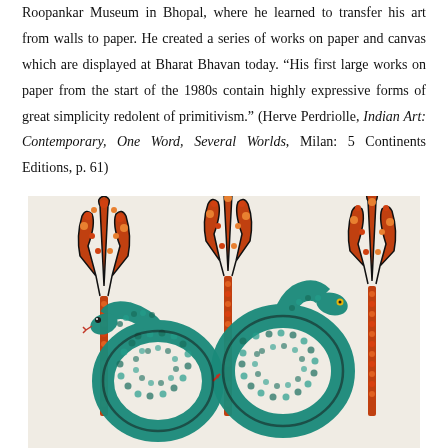Roopankar Museum in Bhopal, where he learned to transfer his art from walls to paper. He created a series of works on paper and canvas which are displayed at Bharat Bhavan today. “His first large works on paper from the start of the 1980s contain highly expressive forms of great simplicity redolent of primitivism.” (Herve Perdriolle, Indian Art: Contemporary, One Word, Several Worlds, Milan: 5 Continents Editions, p. 61)
[Figure (illustration): A Gond-style artwork showing two teal/turquoise coiled snakes with dotted patterns intertwined around three trident (trishul) shapes decorated with red-orange dots. The snakes have detailed scale textures made of small dots. The background is off-white/cream. One snake appears to face the viewer and another faces sideways. A small red arrow-like mark is visible between the snakes.]